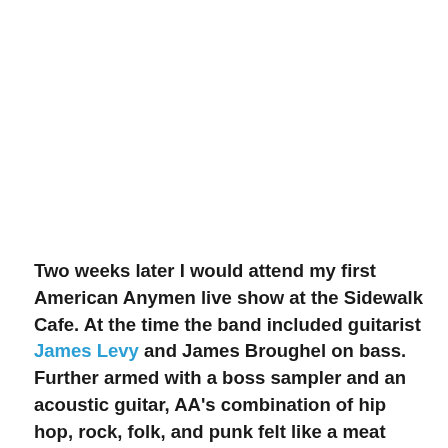Two weeks later I would attend my first American Anymen live show at the Sidewalk Cafe. At the time the band included guitarist James Levy and James Broughel on bass. Further armed with a boss sampler and an acoustic guitar, AA's combination of hip hop, rock, folk, and punk felt like a meat grinder of all popular musical genres from the later part of the 20th century.  The attitude was serious but not flashy. The